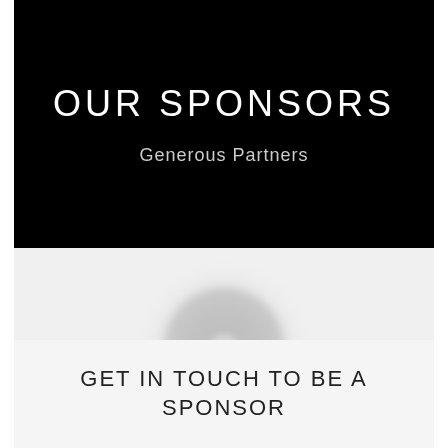OUR SPONSORS
Generous Partners
[Figure (logo): Blurred circular logo placeholder in gray on light gray background]
GET IN TOUCH TO BE A SPONSOR